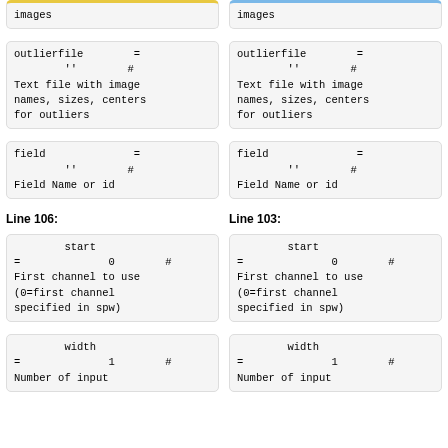images (left column top code block)
images (right column top code block)
outlierfile = '' # Text file with image names, sizes, centers for outliers (left)
outlierfile = '' # Text file with image names, sizes, centers for outliers (right)
field = '' # Field Name or id (left)
field = '' # Field Name or id (right)
Line 106:
Line 103:
start = 0 # First channel to use (0=first channel specified in spw) (left)
start = 0 # First channel to use (0=first channel specified in spw) (right)
width = 1 # Number of input channels (left)
width = 1 # Number of input channels (right)